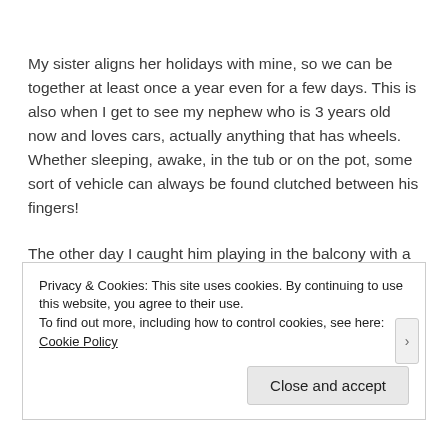My sister aligns her holidays with mine, so we can be together at least once a year even for a few days. This is also when I get to see my nephew who is 3 years old now and loves cars, actually anything that has wheels. Whether sleeping, awake, in the tub or on the pot, some sort of vehicle can always be found clutched between his fingers!
The other day I caught him playing in the balcony with a toy
Privacy & Cookies: This site uses cookies. By continuing to use this website, you agree to their use.
To find out more, including how to control cookies, see here: Cookie Policy